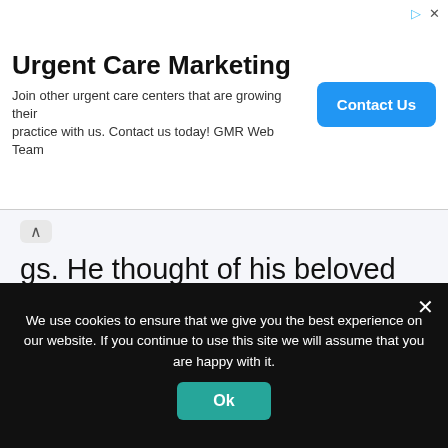[Figure (screenshot): Advertisement banner for Urgent Care Marketing with title, description text, and a blue Contact Us button]
gs. He thought of his beloved father, his big sister, the honest little red dragon, the salted fish little Ying Dragon, the cloud dragon, the clam dragon, and so on.. Besides that, he also thought of the
We use cookies to ensure that we give you the best experience on our website. If you continue to use this site we will assume that you are happy with it.